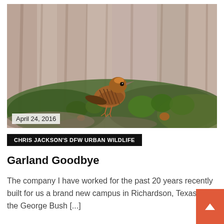[Figure (photo): A brown and black streaked bird (female Red-winged Blackbird or similar) perched on green vegetation/ground cover, with blurred brown reeds/branches in the background. Date overlay 'April 24, 2016' in lower left.]
CHRIS JACKSON'S DFW URBAN WILDLIFE
Garland Goodbye
The company I have worked for the past 20 years recently built for us a brand new campus in Richardson, Texas near the George Bush [...]